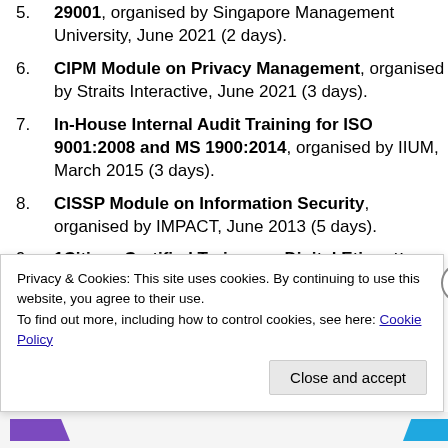29001, organised by Singapore Management University, June 2021 (2 days).
CIPM Module on Privacy Management, organised by Straits Interactive, June 2021 (3 days).
In-House Internal Audit Training for ISO 9001:2008 and MS 1900:2014, organised by IIUM, March 2015 (3 days).
CISSP Module on Information Security, organised by IMPACT, June 2013 (5 days).
1Citizen Certified Trainer on Digital Etiquette and Appropriate Use of
Privacy & Cookies: This site uses cookies. By continuing to use this website, you agree to their use. To find out more, including how to control cookies, see here: Cookie Policy